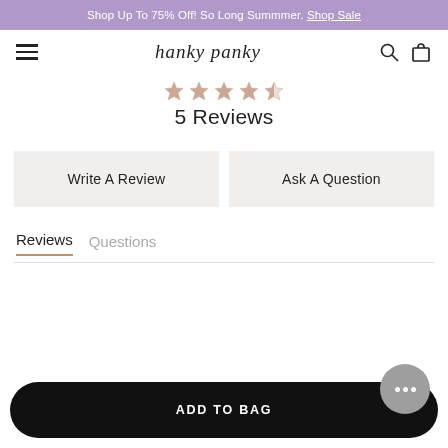Shop Up To 75% Off! So Long Summmer. Shop Sale
[Figure (logo): Hanky Panky brand logo with hamburger menu, search icon, and bag icon]
★★★★☆ 5 Reviews
Write A Review
Ask A Question
Reviews  Questions
ADD TO BAG